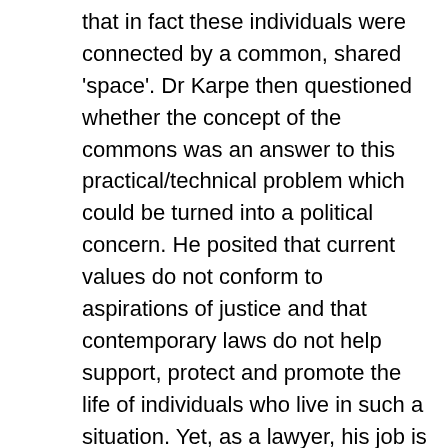that in fact these individuals were connected by a common, shared 'space'. Dr Karpe then questioned whether the concept of the commons was an answer to this practical/technical problem which could be turned into a political concern. He posited that current values do not conform to aspirations of justice and that contemporary laws do not help support, protect and promote the life of individuals who live in such a situation. Yet, as a lawyer, his job is to establish justice between people and to find solutions to concrete technical as well as political problems. Thus in his view the concept of the Commons appear to be the most suitable tool. However, when trying to write the law of the Commons the lawyer faces the harsh reality of having to acknowledge that law simply is not the most appropriate tool. For example, law is usually split in different areas such as contract law, family law, property law, etc and yet the Commons